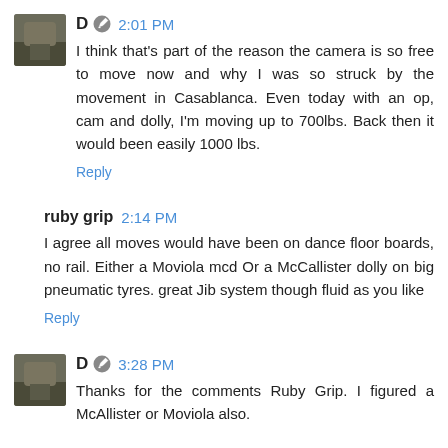D 2:01 PM
I think that's part of the reason the camera is so free to move now and why I was so struck by the movement in Casablanca. Even today with an op, cam and dolly, I'm moving up to 700lbs. Back then it would been easily 1000 lbs.
Reply
ruby grip 2:14 PM
I agree all moves would have been on dance floor boards, no rail. Either a Moviola mcd Or a McCallister dolly on big pneumatic tyres. great Jib system though fluid as you like
Reply
D 3:28 PM
Thanks for the comments Ruby Grip. I figured a McAllister or Moviola also.